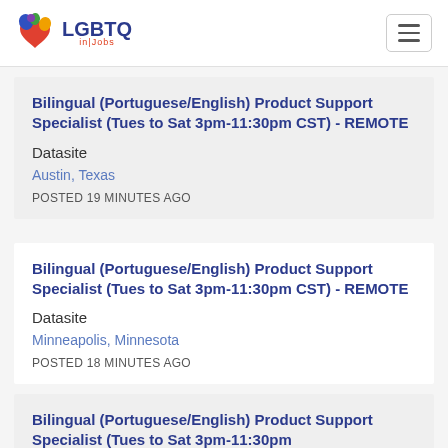LGBTQ in Jobs
Bilingual (Portuguese/English) Product Support Specialist (Tues to Sat 3pm-11:30pm CST) - REMOTE
Datasite
Austin, Texas
POSTED 19 MINUTES AGO
Bilingual (Portuguese/English) Product Support Specialist (Tues to Sat 3pm-11:30pm CST) - REMOTE
Datasite
Minneapolis, Minnesota
POSTED 18 MINUTES AGO
Bilingual (Portuguese/English) Product Support Specialist (Tues to Sat 3pm-11:30pm